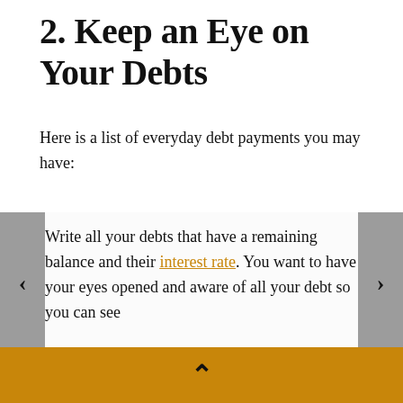2. Keep an Eye on Your Debts
Here is a list of everyday debt payments you may have:
Student loans
Car loan
Credit card debt
Personal loan repayment
Write all your debts that have a remaining balance and their interest rate. You want to have your eyes opened and aware of all your debt so you can see